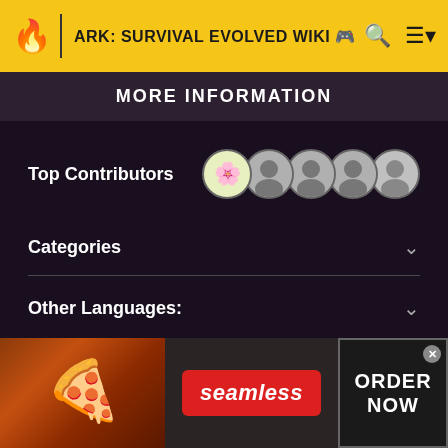ARK: SURVIVAL EVOLVED WIKI
MORE INFORMATION
Top Contributors
Categories
Other Languages:
Community content is available under CC BY-NC-SA 3.0 unless otherwise noted.
[Figure (infographic): Seamless food delivery advertisement banner with pizza image, Seamless logo, and ORDER NOW button]